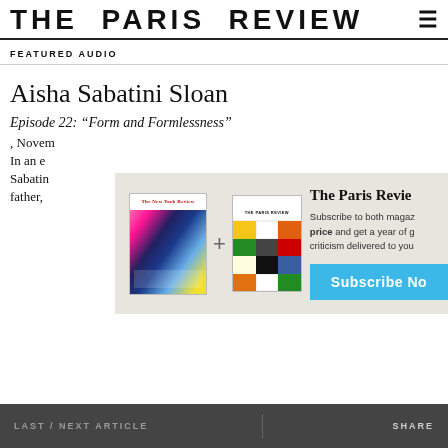THE PARIS REVIEW
FEATURED AUDIO
Aisha Sabatini Sloan
Episode 22: “Form and Formlessness”
, Novem
In an e
Sabatin
father,
[Figure (infographic): Subscription advertisement overlay showing two magazine covers (The New Yorker and The Paris Review) with a plus sign between them, text about subscribing to both magazines at a special price, and a blue Subscribe Now button.]
LAST / NEXT ARTICLE   SHARE